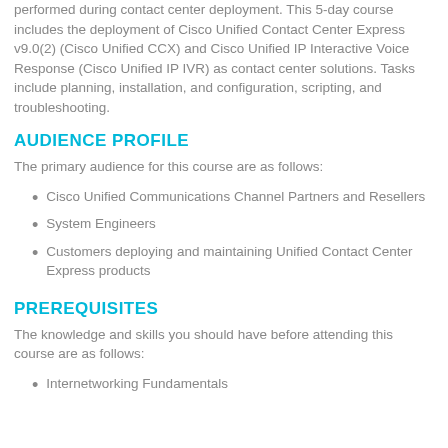performed during contact center deployment. This 5-day course includes the deployment of Cisco Unified Contact Center Express v9.0(2) (Cisco Unified CCX) and Cisco Unified IP Interactive Voice Response (Cisco Unified IP IVR) as contact center solutions. Tasks include planning, installation, and configuration, scripting, and troubleshooting.
AUDIENCE PROFILE
The primary audience for this course are as follows:
Cisco Unified Communications Channel Partners and Resellers
System Engineers
Customers deploying and maintaining Unified Contact Center Express products
PREREQUISITES
The knowledge and skills you should have before attending this course are as follows:
Internetworking Fundamentals